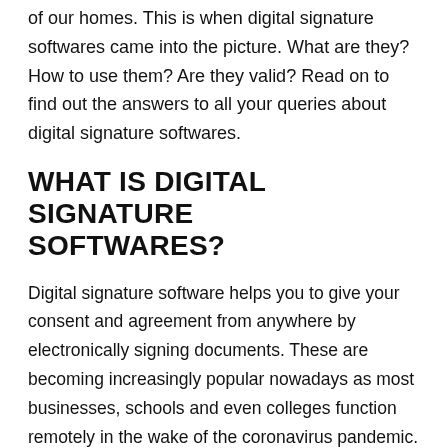of our homes. This is when digital signature softwares came into the picture. What are they? How to use them? Are they valid? Read on to find out the answers to all your queries about digital signature softwares.
WHAT IS DIGITAL SIGNATURE SOFTWARES?
Digital signature software helps you to give your consent and agreement from anywhere by electronically signing documents. These are becoming increasingly popular nowadays as most businesses, schools and even colleges function remotely in the wake of the coronavirus pandemic. Using digital signature softwares, you sign